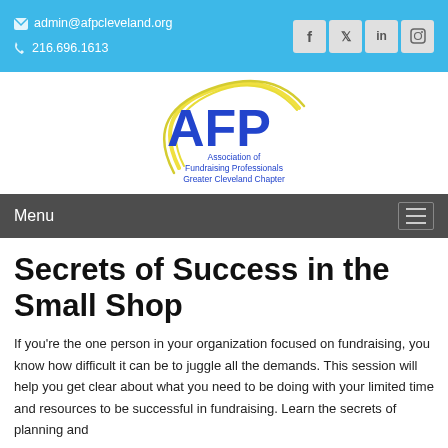admin@afpcleveland.org | 216.696.1613
[Figure (logo): AFP Association of Fundraising Professionals Greater Cleveland Chapter logo with yellow swoosh and blue text]
Menu
Secrets of Success in the Small Shop
If you're the one person in your organization focused on fundraising, you know how difficult it can be to juggle all the demands. This session will help you get clear about what you need to be doing with your limited time and resources to be successful in fundraising. Learn the secrets of planning and